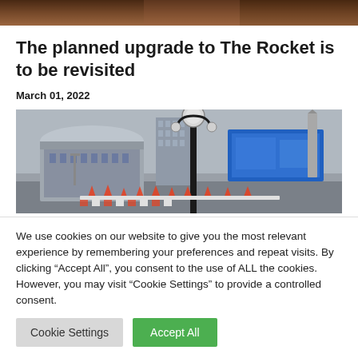[Figure (photo): Cropped top portion of a photo showing a warm-toned outdoor or indoor scene, partially visible at the top of the page.]
The planned upgrade to The Rocket is to be revisited
March 01, 2022
[Figure (photo): Photograph of an urban construction/roadworks scene showing Liverpool Lime Street station area with traffic cones, barriers, a large outdoor screen, buildings including a tall tower block, and a decorative street lamp in the foreground.]
We use cookies on our website to give you the most relevant experience by remembering your preferences and repeat visits. By clicking “Accept All”, you consent to the use of ALL the cookies. However, you may visit “Cookie Settings” to provide a controlled consent.